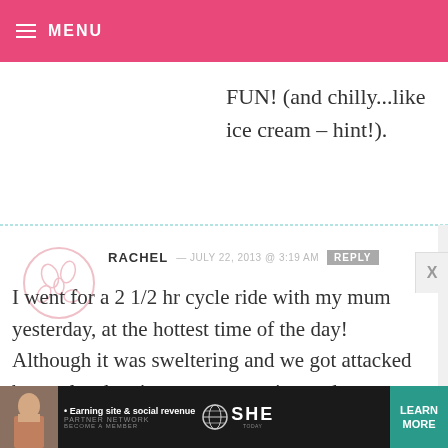MENU
FUN! (and chilly...like ice cream – hint!).
RACHEL — JULY 22, 2013 @ 3:19 AM  REPLY

I went for a 2 1/2 hr cycle ride with my mum yesterday, at the hottest time of the day! Although it was sweltering and we got attacked by nettles the views were stunning and we enjoyed a well-deserved BBQ with the family
[Figure (infographic): SHE Partner Network advertisement banner with photo of woman, tagline 'Earning site & social revenue', SHE NETWORK logo, and 'LEARN MORE' button]